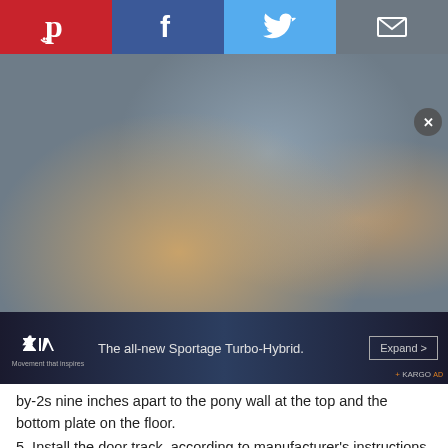[Figure (screenshot): Social sharing bar with Pinterest (red), Facebook (dark blue), Twitter (light blue), and email/envelope (grey) buttons]
[Figure (photo): Two people working on installing a door track or wall framing in a home improvement setting. A car advertisement banner (Kia Sportage Turbo-Hybrid) overlays the bottom of the photo.]
by-2s nine inches apart to the pony wall at the top and the bottom plate on the floor.
5. Install the door track, according to manufacturer's instructions, by screwing up through the track into the pony wall.
[Figure (photo): Partial view of a door track or barn door installation — close-up of white trim/track.]